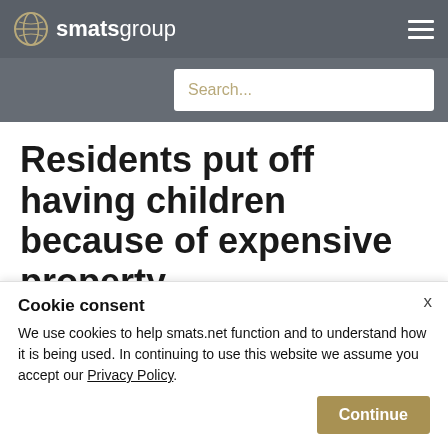smatsgroup
Search...
Residents put off having children because of expensive property
The Australian property market is so volatile that people are putting off having children because they can't find a decent home.
Cookie consent
We use cookies to help smats.net function and to understand how it is being used. In continuing to use this website we assume you accept our Privacy Policy.